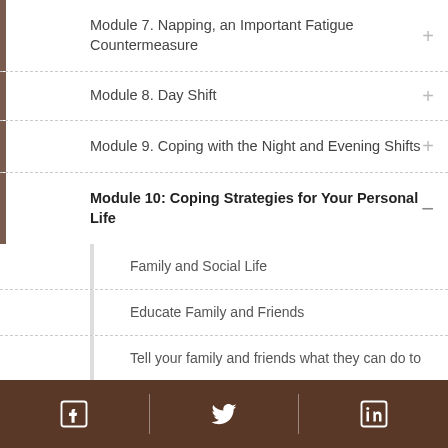Module 7. Napping, an Important Fatigue Countermeasure
Module 8. Day Shift
Module 9. Coping with the Night and Evening Shifts
Module 10: Coping Strategies for Your Personal Life
Family and Social Life
Educate Family and Friends
Tell your family and friends what they can do to
Facebook  Twitter  LinkedIn